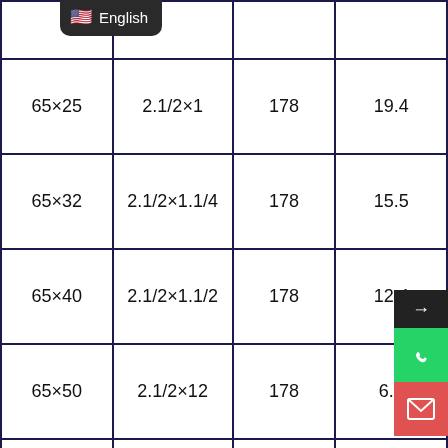|  |  |  |  |
| --- | --- | --- | --- |
|  |  |  |  |
| 65×25 | 2.1/2×1 | 178 | 19.4 |
| 65×32 | 2.1/2×1.1/4 | 178 | 15.5 |
| 65×40 | 2.1/2×1.1/2 | 178 | 12.4 |
| 65×50 | 2.1/2×12 | 178 | 6.4 |
|  |  |  |  |